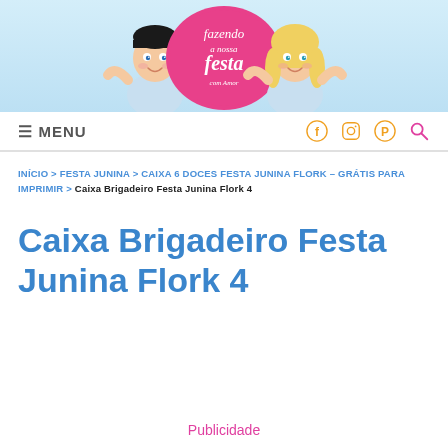[Figure (illustration): Website header banner for 'Fazendo a Nossa Festa' blog, showing cartoon characters of a young man and woman with a pink badge reading 'fazendo a nossa festa' in the center, light blue background.]
≡ MENU
INÍCIO > FESTA JUNINA > CAIXA 6 DOCES FESTA JUNINA FLORK – GRÁTIS PARA IMPRIMIR > Caixa Brigadeiro Festa Junina Flork 4
Caixa Brigadeiro Festa Junina Flork 4
Publicidade